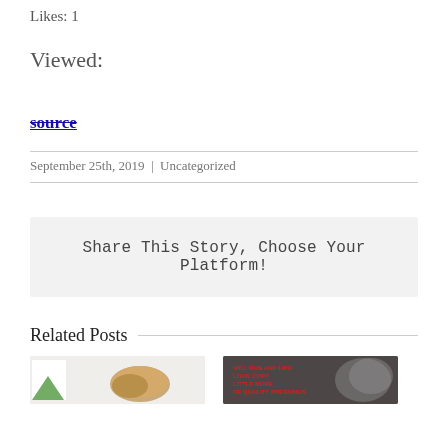Likes: 1
Viewed:
source
September 25th, 2019 | Uncategorized
Share This Story, Choose Your Platform!
Related Posts
[Figure (photo): Thumbnail image 1: food item on white background]
[Figure (photo): Thumbnail image 2: dark image with text overlay]